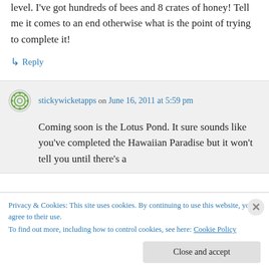level. I've got hundreds of bees and 8 crates of honey! Tell me it comes to an end otherwise what is the point of trying to complete it!
↳ Reply
stickywicketapps on June 16, 2011 at 5:59 pm
Coming soon is the Lotus Pond. It sure sounds like you've completed the Hawaiian Paradise but it won't tell you until there's a
Privacy & Cookies: This site uses cookies. By continuing to use this website, you agree to their use.
To find out more, including how to control cookies, see here: Cookie Policy
Close and accept